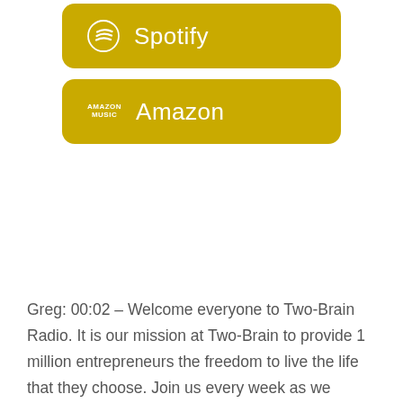[Figure (other): Spotify podcast button — golden/yellow rounded rectangle with Spotify circle logo icon and text 'Spotify']
[Figure (other): Amazon Music podcast button — golden/yellow rounded rectangle with Amazon Music stacked logo and text 'Amazon']
Greg: 00:02 – Welcome everyone to Two-Brain Radio. It is our mission at Two-Brain to provide 1 million entrepreneurs the freedom to live the life that they choose. Join us every week as we discover the very best practices to achieve Perfect Day and move you closer to wealth.
Chris: 00:26 – This episode is sponsored by Anvil Coffee, creators of the CEO brand coffee from Two-